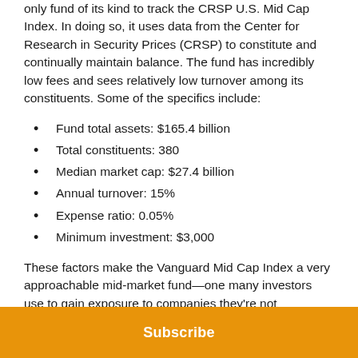only fund of its kind to track the CRSP U.S. Mid Cap Index. In doing so, it uses data from the Center for Research in Security Prices (CRSP) to constitute and continually maintain balance. The fund has incredibly low fees and sees relatively low turnover among its constituents. Some of the specifics include:
Fund total assets: $165.4 billion
Total constituents: 380
Median market cap: $27.4 billion
Annual turnover: 15%
Expense ratio: 0.05%
Minimum investment: $3,000
These factors make the Vanguard Mid Cap Index a very approachable mid-market fund—one many investors use to gain exposure to companies they're not necessarily familiar with, in a segment of the market that
Subscribe